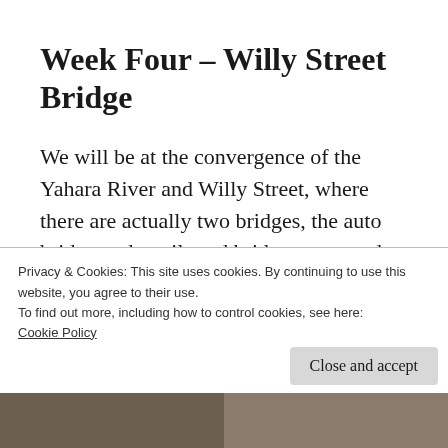Week Four – Willy Street Bridge
We will be at the convergence of the Yahara River and Willy Street, where there are actually two bridges, the auto bridge and a rail road bridge converted to bike and pedestrian use.  We are close to Bethany Church, and there is a fun story there.  The train for years went by the
Privacy & Cookies: This site uses cookies. By continuing to use this website, you agree to their use.
To find out more, including how to control cookies, see here:
Cookie Policy
Close and accept
[Figure (photo): Two small photos at the bottom of the page, partially visible]